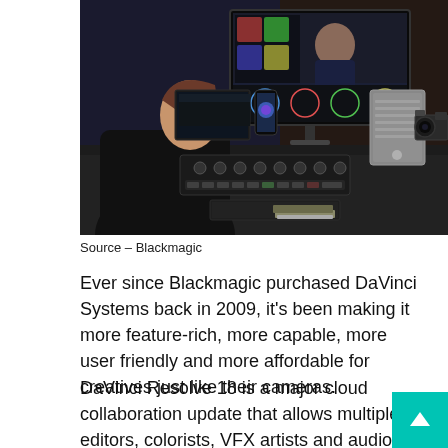[Figure (photo): A person sitting at a professional video editing workstation with multiple monitors showing DaVinci Resolve software, a DaVinci Resolve control panel, a large tower computer, and a professional cinema camera on the right side of the desk.]
Source – Blackmagic
Ever since Blackmagic purchased DaVinci Systems back in 2009, it's been making it more feature-rich, more capable, more user friendly and more affordable for creatives just like their cameras.
DaVinci Resolve 18 is a major cloud collaboration update that allows multiple editors, colorists, VFX artists and audio engineers to simultaneously work on the same project, same timeline … from